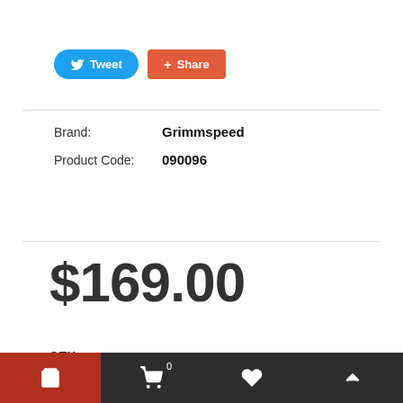[Figure (other): Tweet and Share social media buttons]
Brand: Grimmspeed
Product Code: 090096
$169.00
QTY
[Figure (other): Quantity selector with minus, 1, plus controls]
ADD TO CART
[Figure (other): Bottom navigation bar with cart icon (red), shopping cart with badge 0, heart icon, and up arrow icon]